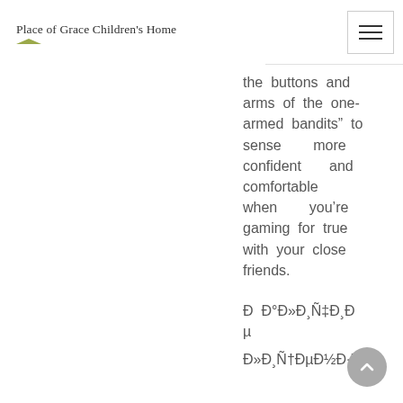Place of Grace Children's Home
the buttons and arms of the one-armed bandits” to sense more confident and comfortable when you’re gaming for true with your close friends.

Д Д°Д»Д’Ń‡Д’Дµ Д»Д’Ń†ДµД½Д.
Д»Д’Ń’ДµД½ДµД.